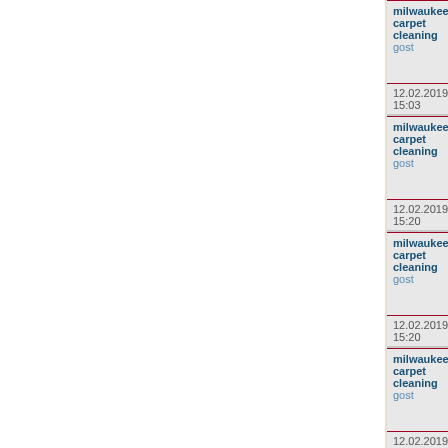milwaukee carpet cleaning
gost
12.02.2019 15:03
milwaukee carpet cleaning
gost
12.02.2019 15:20
milwaukee carpet cleaning
gost
12.02.2019 15:20
milwaukee carpet cleaning
gost
12.02.2019 15:38
carpet cleaning milwaukee
gost